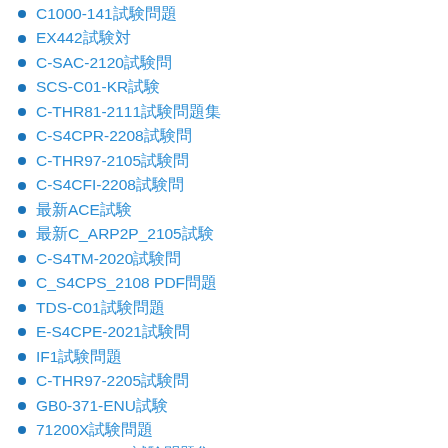C1000-141試験問題
EX442試験対
C-SAC-2120試験問
SCS-C01-KR試験
C-THR81-2111試験問題集
C-S4CPR-2208試験問
C-THR97-2105試験問
C-S4CFI-2208試験問
最新ACE試験
最新C_ARP2P_2105試験
C-S4TM-2020試験問
C_S4CPS_2108 PDF問題
TDS-C01試験問題
E-S4CPE-2021試験問
IF1試験問題
C-THR97-2205試験問
GB0-371-ENU試験
71200X試験問題
C-C4H260-01試験問題集